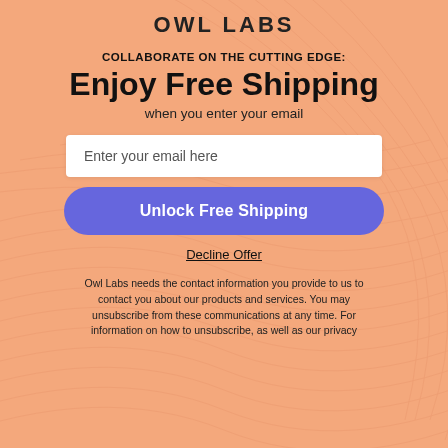[Figure (logo): Owl Labs logo at top, partial view]
COLLABORATE ON THE CUTTING EDGE:
Enjoy Free Shipping
when you enter your email
Enter your email here
Unlock Free Shipping
Decline Offer
Owl Labs needs the contact information you provide to us to contact you about our products and services. You may unsubscribe from these communications at any time. For information on how to unsubscribe, as well as our privacy